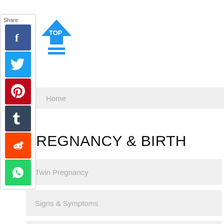[Figure (screenshot): Social share panel with Share label and buttons for Facebook, Twitter, Pinterest, Tumblr, Reddit, WhatsApp]
[Figure (screenshot): TOP button with upward arrow icon in blue]
Home
PREGNANCY & BIRTH
Twin Pregnancy
Signs & Symptoms